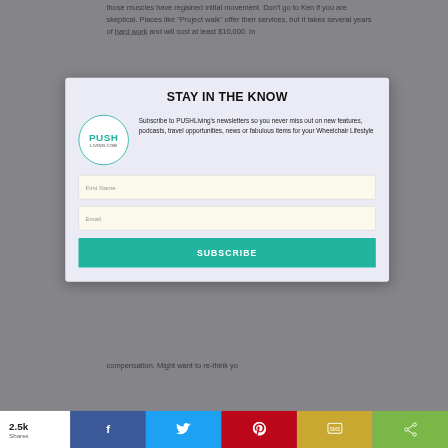those muscles have regained initial movement. Don't go to Ken if you are skeptical. Places like "Project walk" offer their services, but it takes several years of hard work and will cost at least $10,000. In
[Figure (screenshot): Newsletter subscription modal popup for PUSHLiving.com with title 'STAY IN THE KNOW', logo, description text, First Name and Email input fields, and a teal SUBSCRIBE button, overlaying a partially visible article page.]
STAY IN THE KNOW
Subscribe to PUSHLiving's newsletters so you never miss out on new features, podcasts, travel opportunities, news or fabulous items for your Wheelchair Lifestyle
First Name
Email
SUBSCRIBE
compensation. Might want to re-think yo
2.5k
Shares